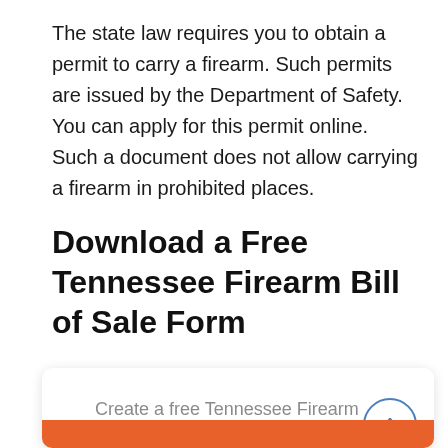The state law requires you to obtain a permit to carry a firearm. Such permits are issued by the Department of Safety. You can apply for this permit online. Such a document does not allow carrying a firearm in prohibited places.
Download a Free Tennessee Firearm Bill of Sale Form
Create a free Tennessee Firearm Bill of Sale online in under 5 minutes!